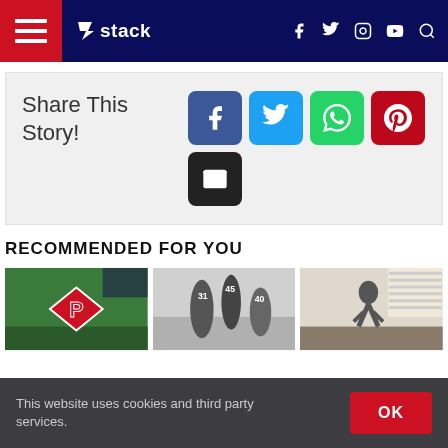Stack — navigation bar with hamburger menu, logo, social icons, and search
Share This Story!
[Figure (infographic): Social share buttons: Facebook (blue), Twitter (light blue), WhatsApp (green), Pinterest (red), Email (black)]
RECOMMENDED FOR YOU
[Figure (photo): Baseball diamond with red turf logo on green field]
[Figure (photo): Black and white photo of football players on field]
[Figure (photo): Indoor training facility with athlete jumping]
This website uses cookies and third party services.
OK